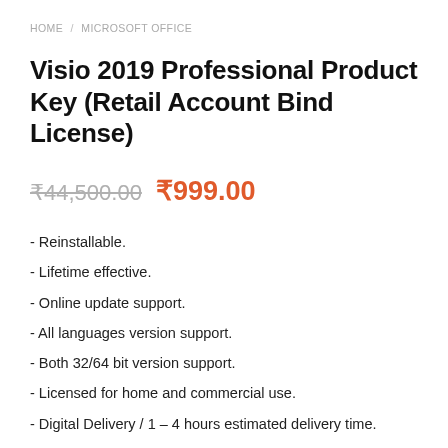HOME / MICROSOFT OFFICE
Visio 2019 Professional Product Key (Retail Account Bind License)
₹44,500.00 ₹999.00
- Reinstallable.
- Lifetime effective.
- Online update support.
- All languages version support.
- Both 32/64 bit version support.
- Licensed for home and commercial use.
- Digital Delivery / 1 – 4 hours estimated delivery time.
- Our 24/7 online support team will be available to you.